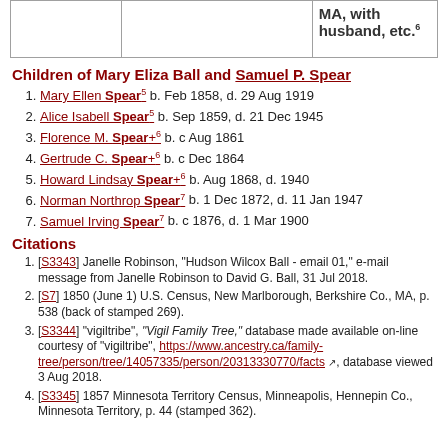|  |  | MA, with husband, etc.6 |
| --- | --- | --- |
|  |  |  |
Children of Mary Eliza Ball and Samuel P. Spear
Mary Ellen Spear5 b. Feb 1858, d. 29 Aug 1919
Alice Isabell Spear5 b. Sep 1859, d. 21 Dec 1945
Florence M. Spear+6 b. c Aug 1861
Gertrude C. Spear+6 b. c Dec 1864
Howard Lindsay Spear+6 b. Aug 1868, d. 1940
Norman Northrop Spear7 b. 1 Dec 1872, d. 11 Jan 1947
Samuel Irving Spear7 b. c 1876, d. 1 Mar 1900
Citations
[S3343] Janelle Robinson, "Hudson Wilcox Ball - email 01," e-mail message from Janelle Robinson to David G. Ball, 31 Jul 2018.
[S7] 1850 (June 1) U.S. Census, New Marlborough, Berkshire Co., MA, p. 538 (back of stamped 269).
[S3344] "vigiltribe", "Vigil Family Tree," database made available on-line courtesy of "vigiltribe", https://www.ancestry.ca/family-tree/person/tree/14057335/person/20313330770/facts, database viewed 3 Aug 2018.
[S3345] 1857 Minnesota Territory Census, Minneapolis, Hennepin Co., Minnesota Territory, p. 44 (stamped 362).